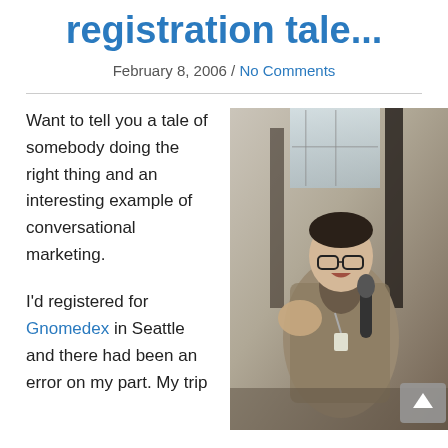registration tale...
February 8, 2006 / No Comments
Want to tell you a tale of somebody doing the right thing and an interesting example of conversational marketing.
I'd registered for Gnomedex in Seattle and there had been an error on my part. My trip
[Figure (photo): A young man with glasses speaking into a microphone, wearing a plaid blazer, gesturing with one hand, photographed indoors near large windows.]